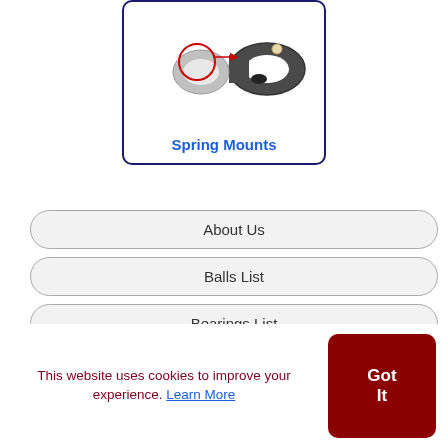[Figure (photo): Two spring mount hardware components: one with a close-up circle highlight and one showing a dark D-ring mount]
Spring Mounts
About Us
Balls List
Bearings List
Bearings and Balls
This website uses cookies to improve your experience. Learn More
Got It